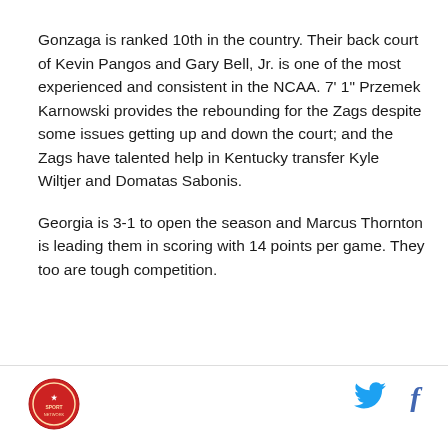Gonzaga is ranked 10th in the country. Their back court of Kevin Pangos and Gary Bell, Jr. is one of the most experienced and consistent in the NCAA. 7' 1" Przemek Karnowski provides the rebounding for the Zags despite some issues getting up and down the court; and the Zags have talented help in Kentucky transfer Kyle Wiltjer and Domatas Sabonis.
Georgia is 3-1 to open the season and Marcus Thornton is leading them in scoring with 14 points per game. They too are tough competition.
[Figure (logo): Circular red sports team logo/emblem in the footer]
[Figure (illustration): Twitter bird icon and Facebook 'f' icon in the footer]